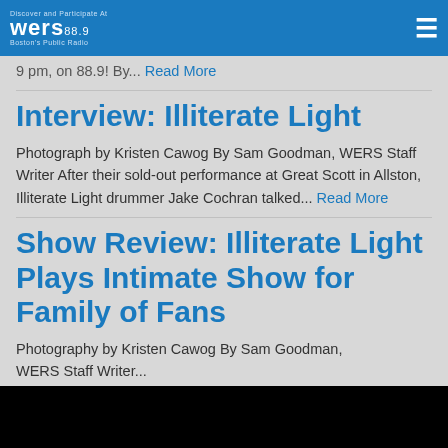WERS 88.9
Graphics by Sam Goodman hear this album and other choices made by our Music Staff on All New from 8-9 pm, on 88.9! By... Read More
Interview: Illiterate Light
Photograph by Kristen Cawog By Sam Goodman, WERS Staff Writer After their sold-out performance at Great Scott in Allston, Illiterate Light drummer Jake Cochran talked... Read More
Show Review: Illiterate Light Plays Intimate Show for Family of Fans
Photography by Kristen Cawog By Sam Goodman, WERS Staff Writer...